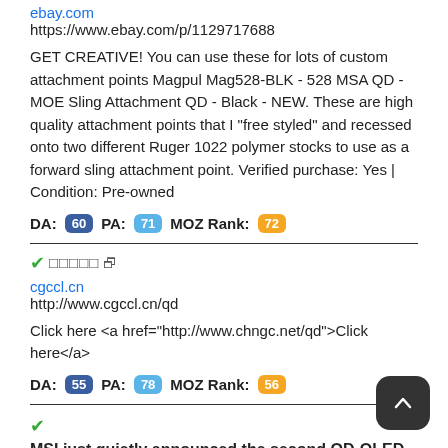ebay.com
https://www.ebay.com/p/1129717688
GET CREATIVE! You can use these for lots of custom attachment points Magpul Mag528-BLK - 528 MSA QD - MOE Sling Attachment QD - Black - NEW. These are high quality attachment points that I "free styled" and recessed onto two different Ruger 1022 polymer stocks to use as a forward sling attachment point. Verified purchase: Yes | Condition: Pre-owned
DA: 60  PA: 71  MOZ Rank: 72
✓□□□□□ ↗
cgccl.cn
http://www.cgccl.cn/qd
Click here <a href="http://www.chngc.net/qd">Click here</a>
DA: 55  PA: 78  MOZ Rank: 56
✓MSI just quietly announced the second QD-OLED gaming monitor ↗